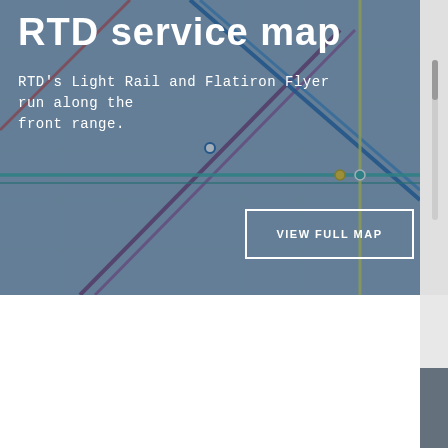RTD service map
RTD's Light Rail and Flatiron Flyer run along the front range.
[Figure (map): RTD transit service map showing light rail and Flatiron Flyer routes along the front range, with colored route lines overlaid on a street grid map]
VIEW FULL MAP
Aurora's freight rail advantage